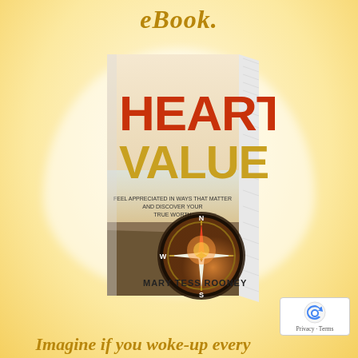eBook.
[Figure (illustration): A 3D rendered book cover titled 'HEART VALUE' by Mary Tess Rooney, with subtitle 'Feel Appreciated in Ways That Matter and Discover Your True Worth'. The cover features a compass on a rocky surface with warm sunset tones. The book is displayed at an angle on a white cloud-like background.]
Imagine if you woke-up every